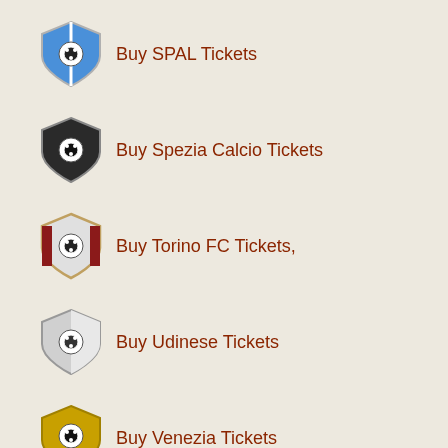Buy SPAL Tickets
Buy Spezia Calcio Tickets
Buy Torino FC Tickets,
Buy Udinese Tickets
Buy Venezia Tickets
Categories
Bilhetes Ligue 1 (23)
1899 Hoffenheim Tickets (8)